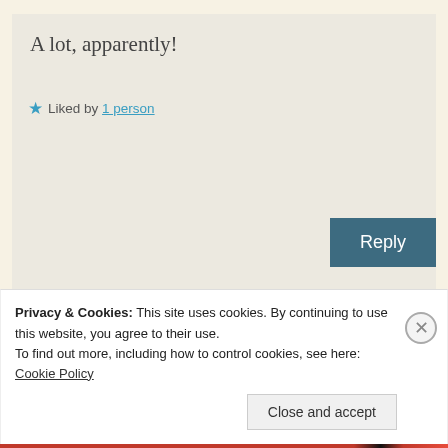A lot, apparently!
★ Liked by 1 person
Reply
Aneela Mirchandani
Privacy & Cookies: This site uses cookies. By continuing to use this website, you agree to their use.
To find out more, including how to control cookies, see here: Cookie Policy
Close and accept